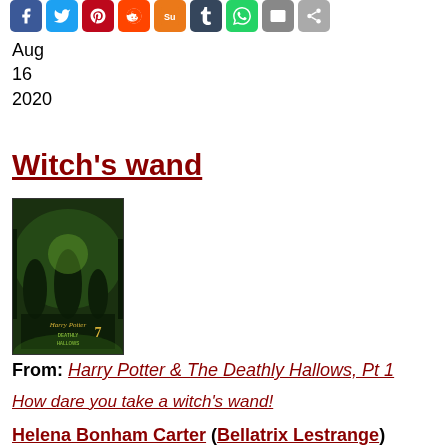[Figure (other): Row of social media sharing icons: Facebook, Twitter, Pinterest, Reddit, StumbleUpon, Tumblr, WhatsApp, Email, ShareThis]
Aug
16
2020
Witch's wand
[Figure (photo): Movie poster for Harry Potter & The Deathly Hallows Part 1 with dark green tones showing Harry Potter characters]
From: Harry Potter & The Deathly Hallows, Pt 1
How dare you take a witch's wand!
Helena Bonham Carter (Bellatrix Lestrange)
[Figure (other): Audio player widget showing 0:00 / 0:00 with play button, progress bar, volume and options controls]
#Anger
#Witches
#Wands